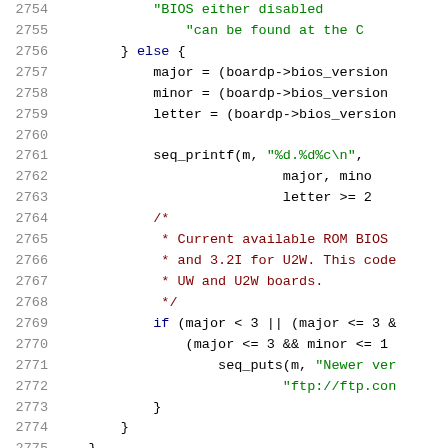[Figure (screenshot): Source code viewer showing C code lines 2754-2775 with syntax highlighting. Line numbers in gray on left, keywords in dark blue, strings in green, comments in dark red, identifiers in black.]